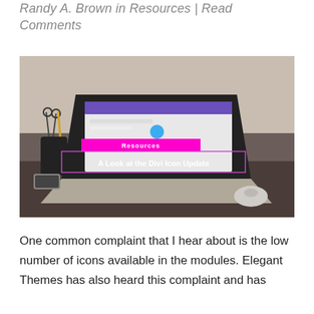Randy A. Brown in Resources | Read Comments
[Figure (photo): Photo of a laptop on a desk with a pencil cup and smartphone, overlaid with a magenta 'Resources' badge and the title 'A Look at the Divi Icon Update' inside an outlined box.]
One common complaint that I hear about is the low number of icons available in the modules. Elegant Themes has also heard this complaint and has